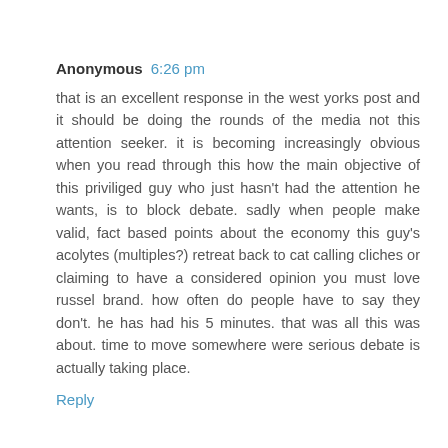Anonymous 6:26 pm
that is an excellent response in the west yorks post and it should be doing the rounds of the media not this attention seeker. it is becoming increasingly obvious when you read through this how the main objective of this priviliged guy who just hasn't had the attention he wants, is to block debate. sadly when people make valid, fact based points about the economy this guy's acolytes (multiples?) retreat back to cat calling cliches or claiming to have a considered opinion you must love russel brand. how often do people have to say they don't. he has had his 5 minutes. that was all this was about. time to move somewhere were serious debate is actually taking place.
Reply
Your Mum 7:00 pm
oh fuck off you ponderous cunt
Reply